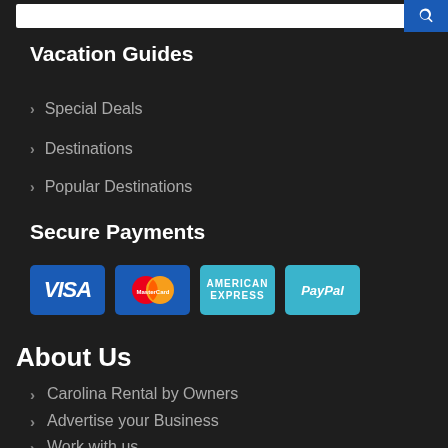Vacation Guides
Special Deals
Destinations
Popular Destinations
Secure Payments
[Figure (logo): Payment method icons: VISA, MasterCard, American Express, PayPal]
About Us
Carolina Rental by Owners
Advertise your Business
Work with us